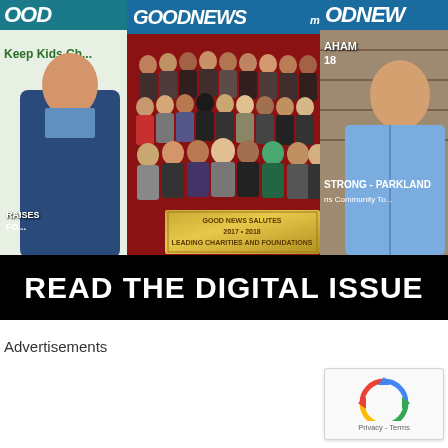[Figure (illustration): Three overlapping magazine covers of 'Good News' magazine. Left cover shows a man in a suit with 'Keep Kids Ch...' text and 'RAISES... FO...' text. Center cover shows a large group photo of people in red theater seats with a gold plaque reading 'GOOD NEWS SALUTES 2017 + 2018 LEADING CHARITIES AND FOUNDATIONS'. Right cover shows a man in a blue denim jacket with 'AHAM 18' and 'STRONG - PARKLAND' text.]
READ THE DIGITAL ISSUE
Advertisements
[Figure (illustration): Google reCAPTCHA widget showing the reCAPTCHA logo (circular arrows) with 'Privacy - Terms' text below]